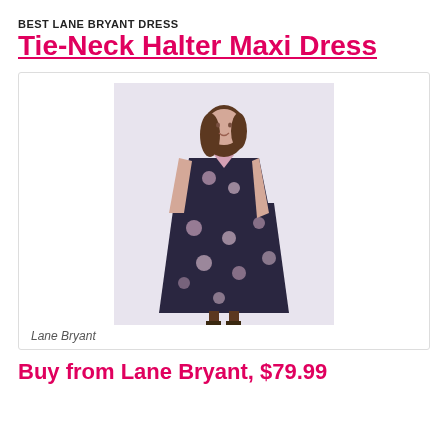BEST LANE BRYANT DRESS
Tie-Neck Halter Maxi Dress
[Figure (photo): A woman wearing a dark navy floral tie-neck halter maxi dress, sleeveless, standing against a white background. The dress has a floral print with pink and white flowers on a dark background.]
Lane Bryant
Buy from Lane Bryant, $79.99